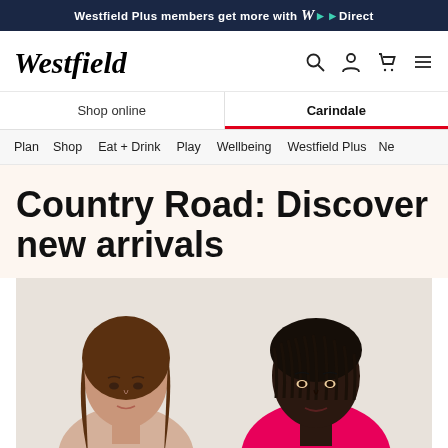Westfield Plus members get more with W Direct
[Figure (logo): Westfield logo in italic serif font]
Shop online | Carindale
Plan  Shop  Eat + Drink  Play  Wellbeing  Westfield Plus  Ne
Country Road: Discover new arrivals
[Figure (photo): Two female models, one with brown hair on the left and one with dark braided hair wearing a pink top on the right, against a light beige background]